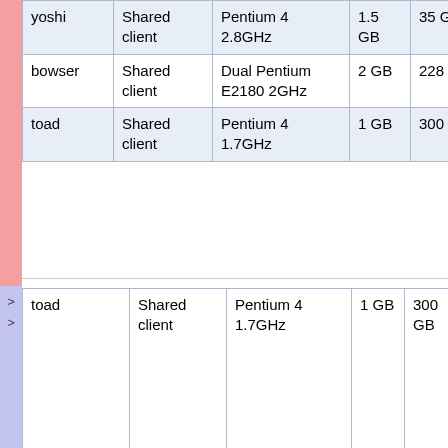| Name | Type | CPU | RAM | Disk | Notes |
| --- | --- | --- | --- | --- | --- |
| yoshi | Shared client | Pentium 4 2.8GHz | 1.5 GB | 35 GB |  |
| bowser | Shared client | Dual Pentium E2180 2GHz | 2 GB | 228 GB |  |
| toad | Shared client | Pentium 4 1.7GHz | 1 GB | 300 GB |  |
| Name | Type | CPU | RAM | Disk | Notes |
| --- | --- | --- | --- | --- | --- |
| toad | Shared client | Pentium 4 1.7GHz | 1 GB | 300 GB | Named a character the Super Mario Bros series of games. |
| claremont | Shared client | 2.4 GHz Pentium | 1 GB | 67 GB | Named a streets in... |